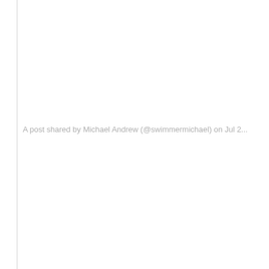A post shared by Michael Andrew (@swimmermichael) on Jul 2...